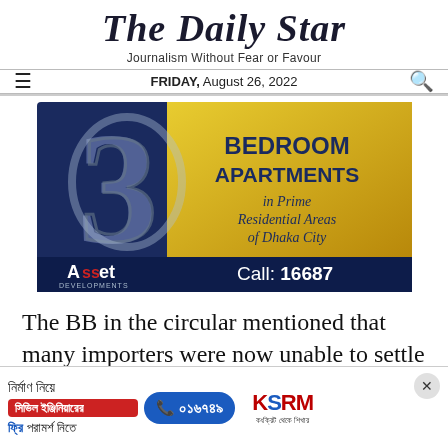The Daily Star
Journalism Without Fear or Favour
FRIDAY, August 26, 2022
[Figure (illustration): Advertisement for Asset Developments showing 3 Bedroom Apartments in Prime Residential Areas of Dhaka City. Blue and gold design with large '3' numeral. Call: 16687]
The BB in the circular mentioned that many importers were now unable to settle their imports
[Figure (illustration): Bottom advertisement banner: 'নির্মাণ নিয়ে - সিভিল ইঞ্জিনিয়ারের - ফ্রি পরামর্শ নিতে' with phone number ০১৬৭৪৯ and KSRM logo]